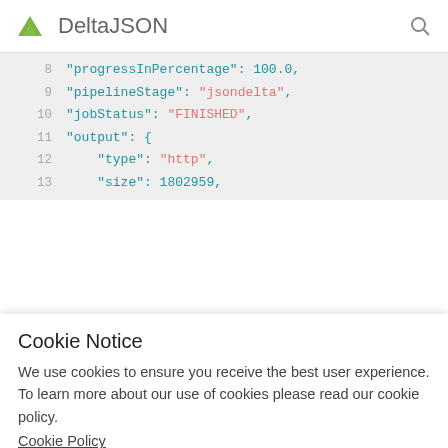DeltaJSON
[Figure (screenshot): Code viewer showing JSON lines 8-13 with syntax highlighting. Line 8: "progressInPercentage": 100.0, Line 9: "pipelineStage": "jsondelta", Line 10: "jobStatus": "FINISHED", Line 11: "output": {, Line 12: "type": "http", Line 13: "size": 1802959,]
Cookie Notice
We use cookies to ensure you receive the best user experience. To learn more about our use of cookies please read our cookie policy.
Cookie Policy
Ok   Don't track me